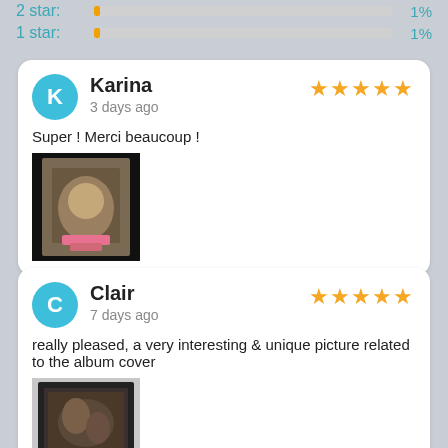2 star: 1%
1 star: 1%
Karina · 3 days ago · ★★★★★ · Super ! Merci beaucoup !
[Figure (photo): Photo of a printed bag/item with an image on it, shown by the reviewer]
Clair · 7 days ago · ★★★★★ · really pleased, a very interesting & unique picture related to the album cover
[Figure (photo): Photo of a framed picture on a wall, shown by the reviewer]